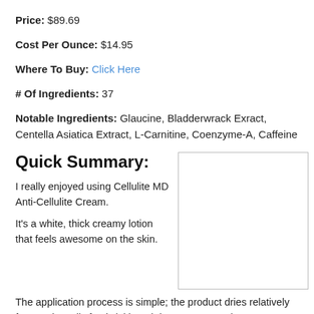Price: $89.69
Cost Per Ounce: $14.95
Where To Buy: Click Here
# Of Ingredients: 37
Notable Ingredients: Glaucine, Bladderwrack Exract, Centella Asiatica Extract, L-Carnitine, Coenzyme-A, Caffeine
Quick Summary:
I really enjoyed using Cellulite MD Anti-Cellulite Cream.
It's a white, thick creamy lotion that feels awesome on the skin.
[Figure (photo): Image placeholder box for product photo]
The application process is simple; the product dries relatively fast, and smells fresh (although it's pretty strong).